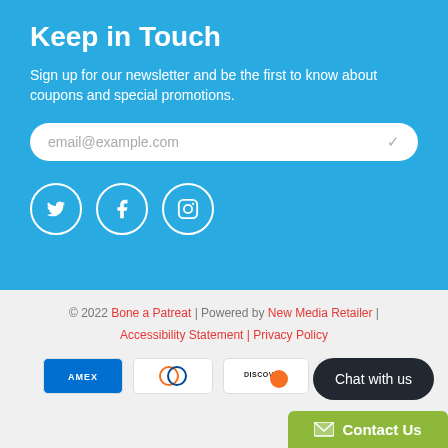Keep in Touch
Sign up for our newsletter and be the first to know about coupons and special promotions.
[Figure (screenshot): Email input field with placeholder text email@example.com and a checkmark icon, white rounded rectangle on blue background]
[Figure (infographic): Three social media icon circles (Twitter, Facebook, Instagram) with white borders on blue background]
© 2022 Bone a Patreat | Powered by New Media Retailer | Accessibility Statement | Privacy Policy
[Figure (infographic): Payment method logos: AMEX, Diners Club, Discover, Meta Pay]
[Figure (other): Chat with us dark rounded button]
[Figure (other): Contact Us green bar at bottom right]